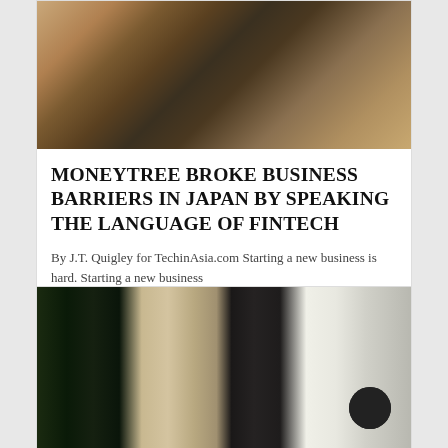[Figure (photo): Two people working on laptops at a wooden desk, hands visible typing]
MONEYTREE BROKE BUSINESS BARRIERS IN JAPAN BY SPEAKING THE LANGUAGE OF FINTECH
By J.T. Quigley for TechinAsia.com Starting a new business is hard. Starting a new business
DEALS, FINTECH NEWS, INSPIRASIA, JAPAN | JANUARY 24, 2016
[Figure (photo): Desk workspace with a dark monitor showing code, a laptop displaying a diagram, and tech accessories]